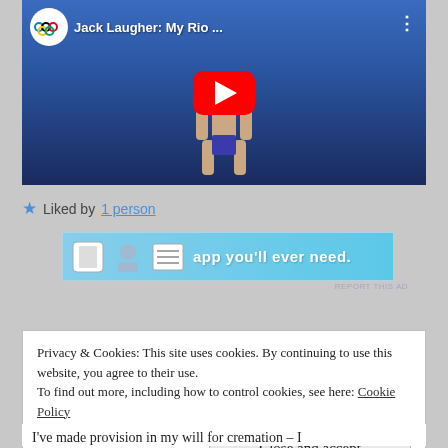[Figure (screenshot): YouTube video thumbnail showing 'Jack Laugher: My Rio ...' with Olympic rings logo, red play button, and diver figure against blue background]
★ Liked by 1 person
[Figure (screenshot): Advertisement banner with light blue background showing app icons and text 'app you'll ever need.']
REPORT THIS AD
Privacy & Cookies: This site uses cookies. By continuing to use this website, you agree to their use.
To find out more, including how to control cookies, see here: Cookie Policy
Close and accept
I've made provision in my will for cremation – I